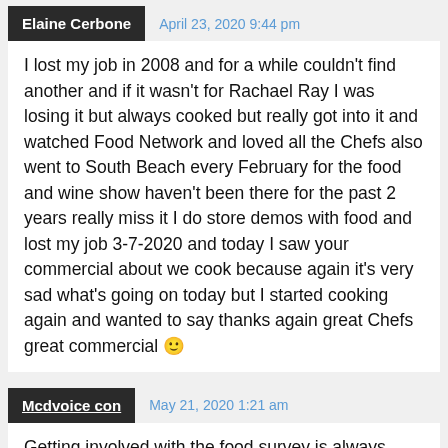Elaine Cerbone — April 23, 2020 9:44 pm
I lost my job in 2008 and for a while couldn't find another and if it wasn't for Rachael Ray I was losing it but always cooked but really got into it and watched Food Network and loved all the Chefs also went to South Beach every February for the food and wine show haven't been there for the past 2 years really miss it I do store demos with food and lost my job 3-7-2020 and today I saw your commercial about we cook because again it's very sad what's going on today but I started cooking again and wanted to say thanks again great Chefs great commercial 🙂
Mcdvoice con — May 21, 2020 1:21 am
Getting involved with the food survey is always awesome. McdVoice is the survey for Macdonalds.